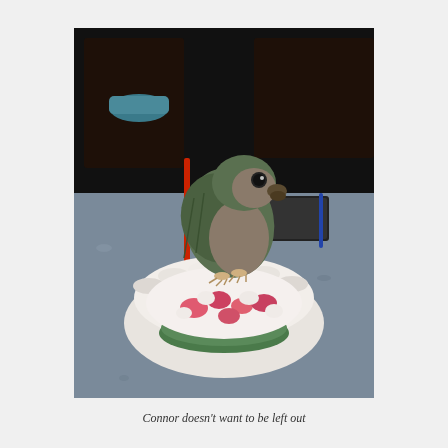[Figure (photo): A small green and grey parrot (likely a green cheek conure) perched on the rim of a white scalloped ceramic bowl filled with pieces of pink and white food (strawberries and possibly other fruit or cheese), on a grey granite countertop. In the background are dark cabinets, a red broom handle, and a notebook.]
Connor doesn't want to be left out